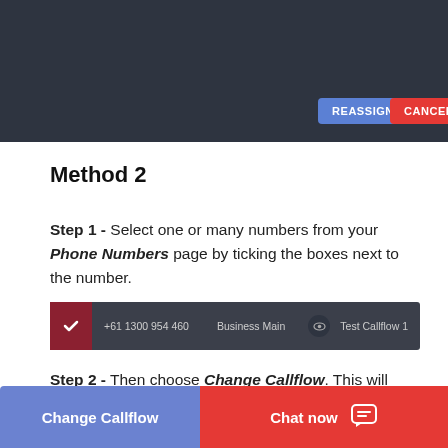[Figure (screenshot): Top portion of a UI showing a dark header bar with REASSIGN (blue) and CANCEL (red) buttons]
Method 2
Step 1 - Select one or many numbers from your Phone Numbers page by ticking the boxes next to the number.
[Figure (screenshot): A phone number row showing a checked checkbox, +61 1300 954 460, Business Main label, eye icon, and Test Callflow 1]
Step 2 - Then choose Change Callflow. This will only update the numbers you have chosen.
[Figure (screenshot): Bottom bar with blue Change Callflow button and red Chat now button with chat icon]